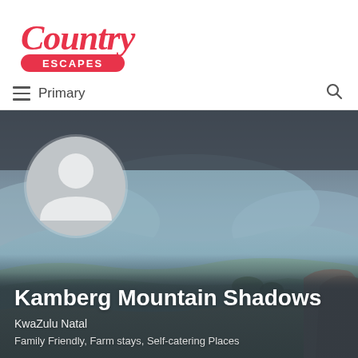[Figure (logo): Country Escapes logo — cursive red 'Country' text above a red pill/badge shape containing white text 'ESCAPES']
≡  Primary
[Figure (photo): Hero banner showing a scenic landscape of rolling hills and valleys under a hazy blue sky (KwaZulu-Natal mountains), with a grey silhouette avatar placeholder circle on the left side. Below the avatar, white text reads: 'Kamberg Mountain Shadows', then 'KwaZulu Natal', then 'Family Friendly, Farm stays, Self-catering Places']
Kamberg Mountain Shadows
KwaZulu Natal
Family Friendly, Farm stays, Self-catering Places